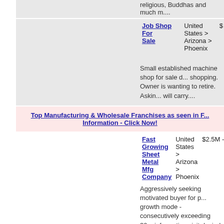religious, Buddhas and much m....
Job Shop For Sale
United States > Arizona > Phoenix
$
Small established machine shop for sale d... shopping. Owner is wanting to retire. Askin... will carry....
Top Manufacturing & Wholesale Franchises as seen in F... Information - Click Now!
Fast Growing Sheet Metal Mfg Company
United States > Arizona > Phoenix
$2.5M -
Aggressively seeking motivated buyer for p... growth mode - consecutively exceeding 30... information visit dayind dot com or contact...
Fitness Manufacturing Business
United States > Arizona > Phoenix
$500K -
Established manufacturer of fitness equip...
Manufacturing Business For Sale
United States > Arizona > Phoenix
<